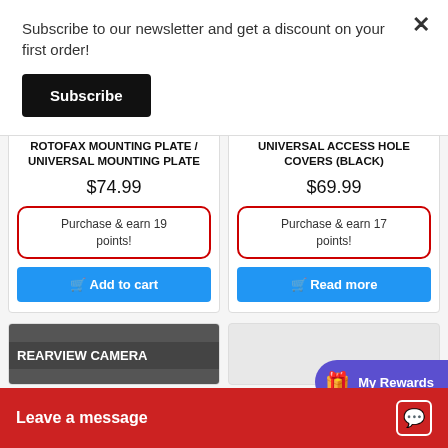Subscribe to our newsletter and get a discount on your first order!
Subscribe
ROTOFAX MOUNTING PLATE / UNIVERSAL MOUNTING PLATE
$74.99
Purchase & earn 19 points!
Add to cart
UNIVERSAL ACCESS HOLE COVERS (BLACK)
$69.99
Purchase & earn 17 points!
Read more
REARVIEW CAMERA
My Rewards
Leave a message